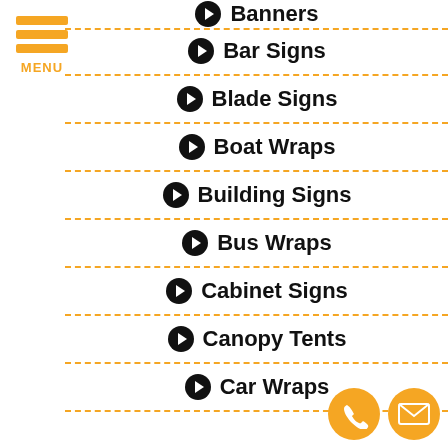Banners
Bar Signs
Blade Signs
Boat Wraps
Building Signs
Bus Wraps
Cabinet Signs
Canopy Tents
Car Wraps
[Figure (illustration): Phone contact button (orange circle with phone icon)]
[Figure (illustration): Email contact button (orange circle with envelope icon)]